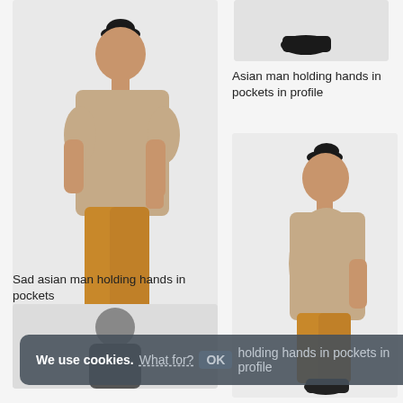[Figure (photo): Asian man in beige t-shirt and mustard yellow pants with black shoes, facing slightly left, hands in pockets, full body shot on white/light grey background]
[Figure (photo): Partial view of feet/legs in black shoes — likely the same man from above, cropped to just the lower portion]
Asian man holding hands in pockets in profile
[Figure (photo): Asian man in beige t-shirt and mustard yellow pants with black shoes, side profile view, hands in pockets, full body shot on light grey background]
Sad asian man holding hands in pockets
[Figure (photo): Partial view of an Asian man from the torso up, dark hoodie, on light background — bottom portion of page, partially obscured by cookie banner]
We use cookies. What for? OK holding hands in pockets in profile